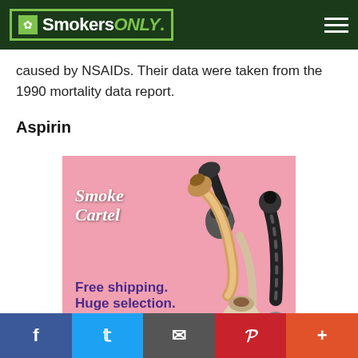SmokersONLY.
caused by NSAIDs. Their data were taken from the 1990 mortality data report.
Aspirin
[Figure (illustration): Smoke Cartel advertisement showing smoking pipes on a pink background. Text reads: Free shipping. Huge selection. Great prices. SHOP OUR ONLINE HEADSHOP]
Facebook Twitter Email Pinterest Plus